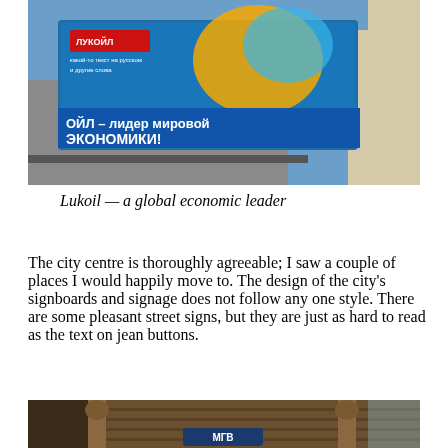[Figure (photo): Lukoil billboard on building exterior with Russian text reading 'ЛУКОЙЛ – лидер мировой экономики!' (Lukoil – a leader of the world economy!) against a blue sky background]
Lukoil — a global economic leader
The city centre is thoroughly agreeable; I saw a couple of places I would happily move to. The design of the city's signboards and signage does not follow any one style. There are some pleasant street signs, but they are just as hard to read as the text on jean buttons.
[Figure (photo): Old wooden building facade with ornate carved wooden trim and columns, with a dark blue enamel street sign with Cyrillic letters (МГВ or similar) mounted on it]